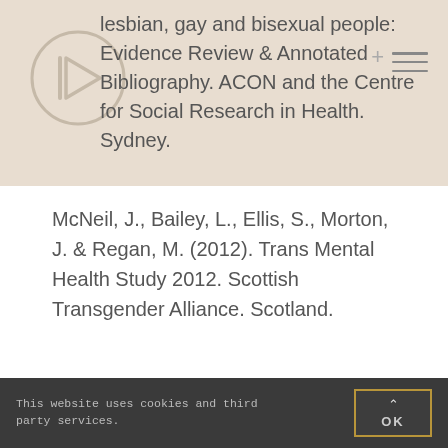lesbian, gay and bisexual people: Evidence Review & Annotated Bibliography. ACON and the Centre for Social Research in Health. Sydney.
McNeil, J., Bailey, L., Ellis, S., Morton, J. & Regan, M. (2012). Trans Mental Health Study 2012. Scottish Transgender Alliance. Scotland.
Robinson, K.H., Bansel, P., Denson, N.,
This website uses cookies and third party services.